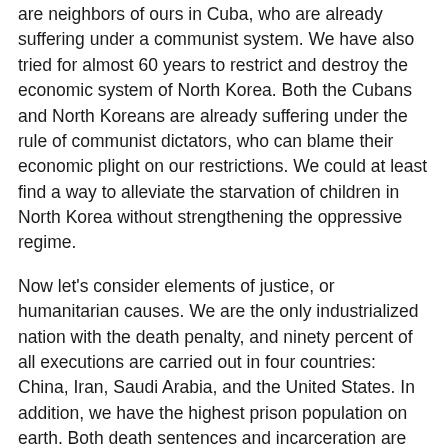are neighbors of ours in Cuba, who are already suffering under a communist system. We have also tried for almost 60 years to restrict and destroy the economic system of North Korea. Both the Cubans and North Koreans are already suffering under the rule of communist dictators, who can blame their economic plight on our restrictions. We could at least find a way to alleviate the starvation of children in North Korea without strengthening the oppressive regime.
Now let's consider elements of justice, or humanitarian causes. We are the only industrialized nation with the death penalty, and ninety percent of all executions are carried out in four countries: China, Iran, Saudi Arabia, and the United States. In addition, we have the highest prison population on earth. Both death sentences and incarceration are mostly confined to the poor, minorities, or to people with mental deficiencies.
Although all other nations defer to America to resolve problems in the Middle East, for the first time since 1967 we are making no tangible effort to bring peace to Israel and its neighbors and to alleviate oppression of the Palestinian people.